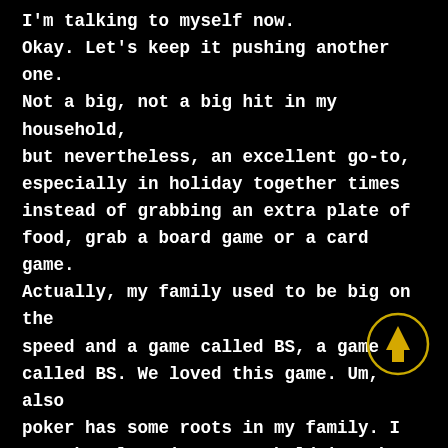I'm talking to myself now. Okay. Let's keep it pushing another one. Not a big, not a big hit in my household, but nevertheless, an excellent go-to, especially in holiday together times instead of grabbing an extra plate of food, grab a board game or a card game. Actually, my family used to be big on the speed and a game called BS, a game called BS. We loved this game. Um, also poker has some roots in my family. I remember learning Texas hold 'em when I was like 12 or 13. So much fun. Engage the mind, engage each other, play a freaking game. Oh my gosh. Scrabble. You guys really, really good one because
[Figure (other): Yellow circular button with an upward-pointing arrow icon]